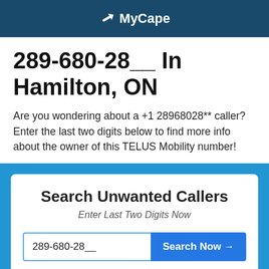MyCape
289-680-28__ In Hamilton, ON
Are you wondering about a +1 28968028** caller? Enter the last two digits below to find more info about the owner of this TELUS Mobility number!
Search Unwanted Callers
Enter Last Two Digits Now